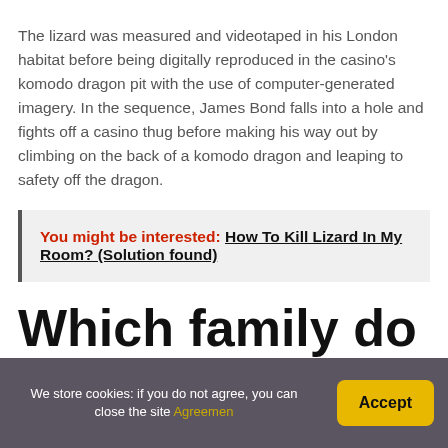The lizard was measured and videotaped in his London habitat before being digitally reproduced in the casino's komodo dragon pit with the use of computer-generated imagery. In the sequence, James Bond falls into a hole and fights off a casino thug before making his way out by climbing on the back of a komodo dragon and leaping to safety off the dragon.
You might be interested: How To Kill Lizard In My Room? (Solution found)
Which family do
We store cookies: if you do not agree, you can close the site Agreemen  Accept